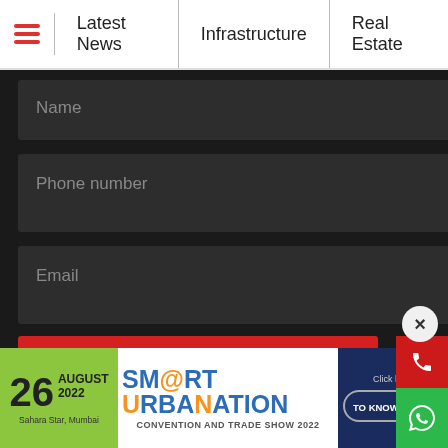≡  Latest News  |  Infrastructure  |  Real Estate
Name
Phone number
Email
👍 SUBSCRIBE
[Figure (screenshot): Subscribe form with Name, Phone number, Email fields and a red SUBSCRIBE button on dark background. Side buttons for phone (red) and WhatsApp (green). Close (X) button visible.]
[Figure (infographic): Advertisement banner for SM@RT URBANATION Convention and Trade Show 2022 on 26 August 2022, Sahara Star, Mumbai. Green left panel with date, orange and blue logo in center, dark blue right panel with Click here and TO KNOW MORE! button.]